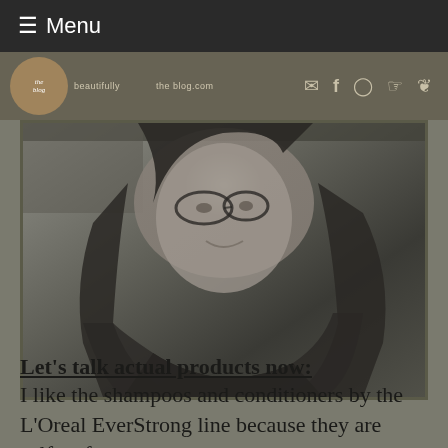☰ Menu
[Figure (logo): Blog logo circle with social media icons (email, Facebook, Instagram, Pinterest, Twitter)]
[Figure (photo): Black and white photo of a woman with long dark hair and glasses, smiling, taken from close up]
Let's talk actual products now:
I like the shampoos and conditioners by the L'Oreal EverStrong line because they are sulfate free, are